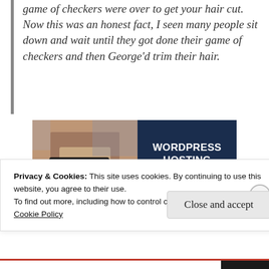game of checkers were over to get your hair cut. Now this was an honest fact, I seen many people sit down and wait until they got done their game of checkers and then George'd trim their hair.
[Figure (photo): Advertisement showing a person holding an OPEN sign on the left side, and dark navy background with text WORDPRESS HOSTING THAT MEANS BUSINESS. on the right side.]
Privacy & Cookies: This site uses cookies. By continuing to use this website, you agree to their use.
To find out more, including how to control cookies, see here:
Cookie Policy